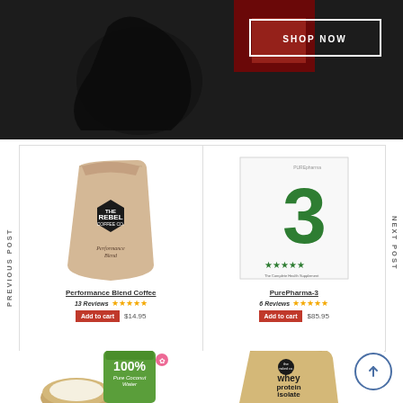[Figure (photo): Dark gym/fitness promotional banner with athlete silhouette in red and black, with SHOP NOW button overlay]
SHOP NOW
PREVIOUS POST
NEXT POST
[Figure (photo): Rebel Performance Blend Coffee in kraft paper bag with hexagonal logo]
Performance Blend Coffee
13 Reviews ★★★★★
Add to cart $14.95
[Figure (photo): PurePharma-3 white box with large green 3 and five green stars]
PurePharma-3
6 Reviews ★★★★★
Add to cart $85.95
[Figure (photo): 100% Pure Coconut Water can with coconuts, green label, from Thailand]
[Figure (photo): Whey Protein Isolate kraft bag - Organic Cacao flavor]